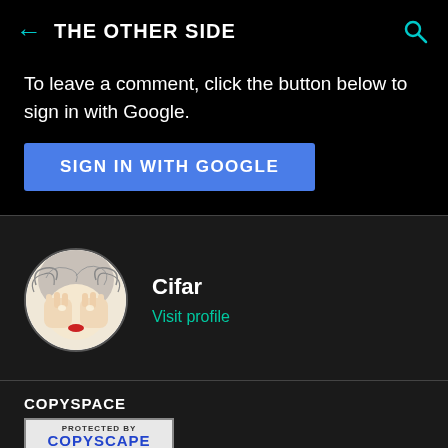← THE OTHER SIDE 🔍
To leave a comment, click the button below to sign in with Google.
[Figure (screenshot): Blue button labeled SIGN IN WITH GOOGLE]
[Figure (illustration): Circular avatar illustration of a person covering their face, with artistic swirly hair. Profile name: Cifar. Link: Visit profile]
[Figure (logo): Copyspace label and Copyscape protected badge logo]